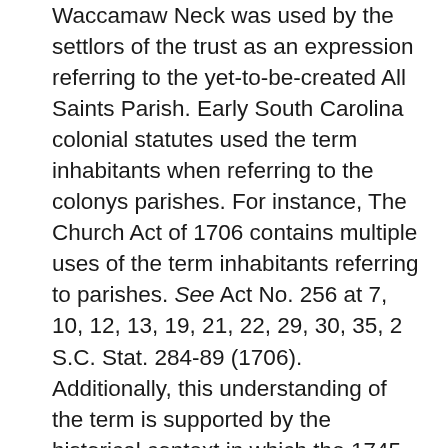Waccamaw Neck was used by the settlors of the trust as an expression referring to the yet-to-be-created All Saints Parish. Early South Carolina colonial statutes used the term inhabitants when referring to the colonys parishes. For instance, The Church Act of 1706 contains multiple uses of the term inhabitants referring to parishes. See Act No. 256 at 7, 10, 12, 13, 19, 21, 22, 29, 30, 35, 2 S.C. Stat. 284-89 (1706). Additionally, this understanding of the term is supported by the historical context in which the 1745 Trust Deed was executed. In 1745, the inhabitants of Waccamaw Neck were parishioners of Prince Georges Parish. They were clamoring for the establishment of their own Parish congregation and had already been worshipping on the land at issue for approximately eight years. It was within this historical context that the 1745 Trust Deed